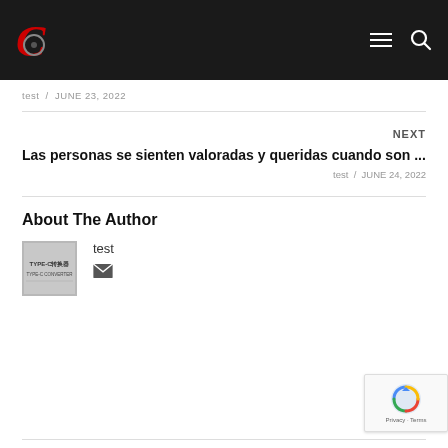C [logo] [hamburger menu] [search icon]
test / JUNE 23, 2022
NEXT
Las personas se sienten valoradas y queridas cuando son ...
test / JUNE 24, 2022
About The Author
test
[Figure (illustration): Author avatar image showing TYPE-C adapter product photo]
[Figure (illustration): Email envelope icon]
[Figure (illustration): reCAPTCHA badge with Google logo, Privacy and Terms links]